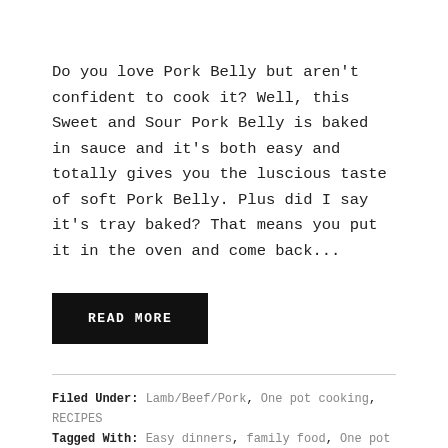Do you love Pork Belly but aren't confident to cook it? Well, this Sweet and Sour Pork Belly is baked in sauce and it's both easy and totally gives you the luscious taste of soft Pork Belly. Plus did I say it's tray baked? That means you put it in the oven and come back...
READ MORE
Filed Under: Lamb/Beef/Pork, One pot cooking, RECIPES
Tagged With: Easy dinners, family food, One pot cooking, oven baked pork, Pork, recipes using pork belly, sweet and sour, sweet and sour pork